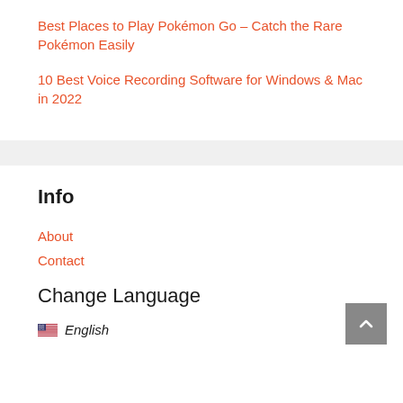Best Places to Play Pokémon Go – Catch the Rare Pokémon Easily
10 Best Voice Recording Software for Windows & Mac in 2022
Info
About
Contact
Change Language
English